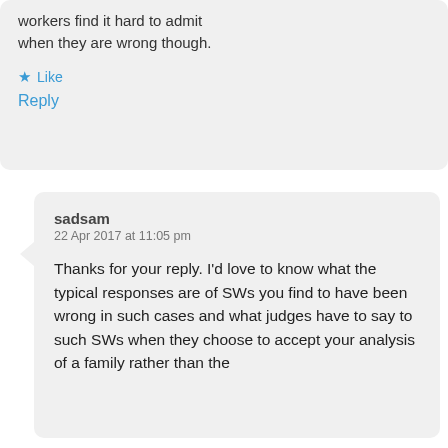workers find it hard to admit when they are wrong though.
Like
Reply
sadsam
22 Apr 2017 at 11:05 pm
Thanks for your reply. I'd love to know what the typical responses are of SWs you find to have been wrong in such cases and what judges have to say to such SWs when they choose to accept your analysis of a family rather than the